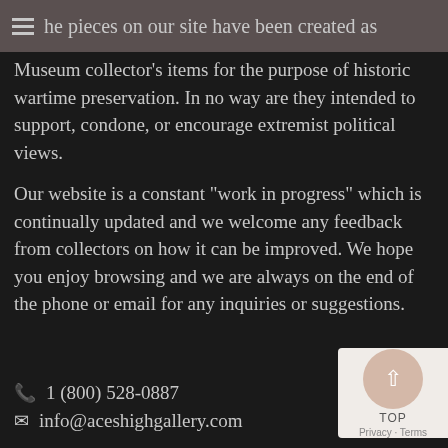The pieces on our site have been created as Museum collector's items for the purpose of historic wartime preservation. In no way are they intended to support, condone, or encourage extremist political views.
Our website is a constant "work in progress" which is continually updated and we welcome any feedback from collectors on how it can be improved. We hope you enjoy browsing and we are always on the end of the phone or email for any inquiries or suggestions.
1 (800) 528-0887
info@aceshighgallery.com